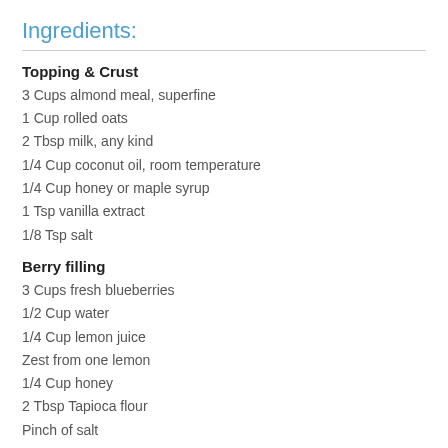Ingredients:
Topping & Crust
3 Cups almond meal, superfine
1 Cup rolled oats
2 Tbsp milk, any kind
1/4 Cup coconut oil, room temperature
1/4 Cup honey or maple syrup
1 Tsp vanilla extract
1/8 Tsp salt
Berry filling
3 Cups fresh blueberries
1/2 Cup water
1/4 Cup lemon juice
Zest from one lemon
1/4 Cup honey
2 Tbsp Tapioca flour
Pinch of salt